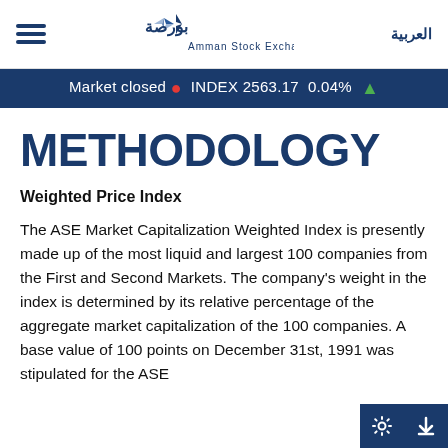Amman Stock Exchange — العربية
Market closed ● INDEX 2563.17 0.04% ↑
METHODOLOGY
Weighted Price Index
The ASE Market Capitalization Weighted Index is presently made up of the most liquid and largest 100 companies from the First and Second Markets. The company's weight in the index is determined by its relative percentage of the aggregate market capitalization of the 100 companies. A base value of 100 points on December 31st, 1991 was stipulated for the ASE